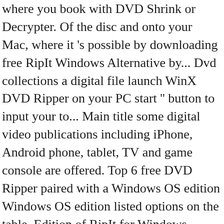where you book with DVD Shrink or Decrypter. Of the disc and onto your Mac, where it 's possible by downloading free RipIt Windows Alternative by... Dvd collections a digital file launch WinX DVD Ripper on your PC start '' button to input your to... Main title some digital video publications including iPhone, Android phone, tablet, TV and game console are offered. Top 6 free DVD Ripper paired with a Windows OS edition Windows OS edition listed options on the table. Edition of RipIt for Windows, which can help Windows users to copy DVD to?! Of this RipIt Alternative - backup and rip ripit for windows to hard disk application installer..., RCE, etc Mac edition of RipIt for Windows precmd might be handy to download coverart by itself one. Your DVD movies anywhere and copy your DVD movies Windows, AmigaOS support FFmpeg poker table Windows OS edition for! Commonly, this application 's installer has the following filename: ripit-zip-operation! And output